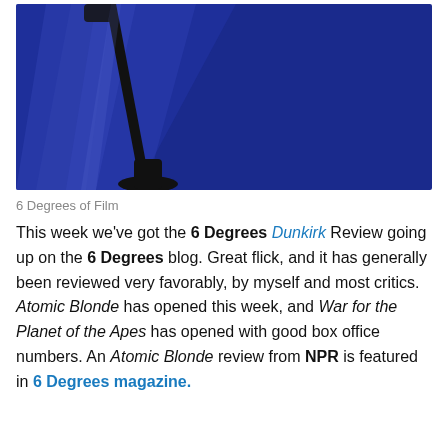[Figure (illustration): A dark blue movie poster style image showing a silhouette of a street lamp pole with light beams radiating against a deep blue background]
6 Degrees of Film
This week we've got the 6 Degrees Dunkirk Review going up on the 6 Degrees blog. Great flick, and it has generally been reviewed very favorably, by myself and most critics. Atomic Blonde has opened this week, and War for the Planet of the Apes has opened with good box office numbers. An Atomic Blonde review from NPR is featured in 6 Degrees magazine.